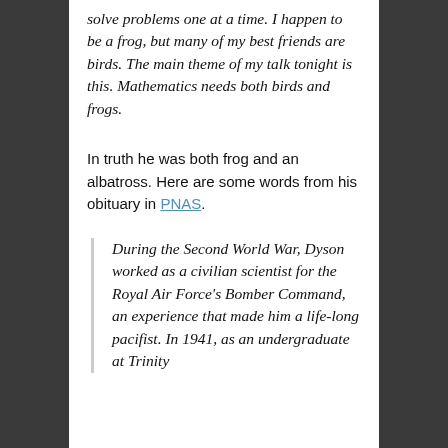solve problems one at a time. I happen to be a frog, but many of my best friends are birds. The main theme of my talk tonight is this. Mathematics needs both birds and frogs.
In truth he was both frog and an albatross. Here are some words from his obituary in PNAS.
During the Second World War, Dyson worked as a civilian scientist for the Royal Air Force's Bomber Command, an experience that made him a life-long pacifist. In 1941, as an undergraduate at Trinity